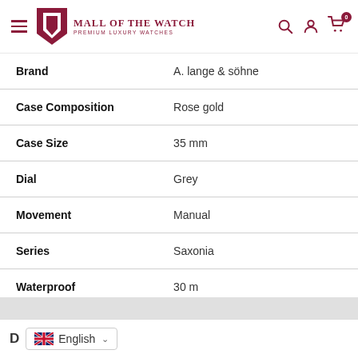Mall of the Watch — Premium Luxury Watches
| Attribute | Value |
| --- | --- |
| Brand | A. lange & söhne |
| Case Composition | Rose gold |
| Case Size | 35 mm |
| Dial | Grey |
| Movement | Manual |
| Series | Saxonia |
| Waterproof | 30 m |
D  English